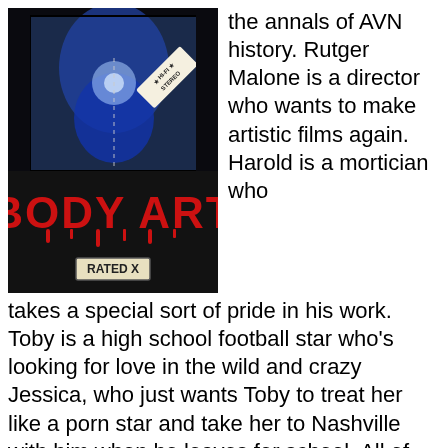[Figure (photo): Movie cover for 'Body Art' - dark/blue-toned image with 'HI-FI STEREO' label in upper right, bold red dripping text 'BODY ART' in the middle, and 'RATED X' label at bottom center.]
the annals of AVN history. Rutger Malone is a director who wants to make artistic films again. Harold is a mortician who takes a special sort of pride in his work. Toby is a high school football star who's looking for love in the wild and crazy Jessica, who just wants Toby to treat her like a porn star and take her to Nashville with him when he leaves for school. All of these characters are brought together by a sequence of events coated in a supernatural dust that ups the